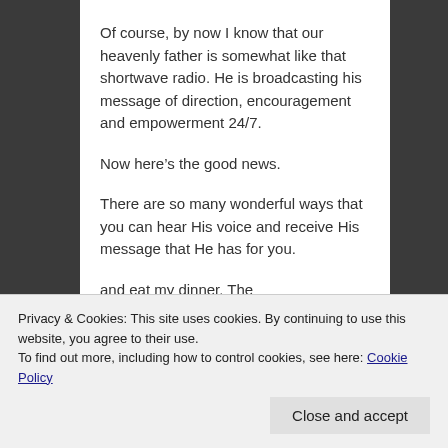Of course, by now I know that our heavenly father is somewhat like that shortwave radio. He is broadcasting his message of direction, encouragement and empowerment 24/7.
Now here’s the good news.
There are so many wonderful ways that you can hear His voice and receive His message that He has for you.
and eat my dinner. The
Privacy & Cookies: This site uses cookies. By continuing to use this website, you agree to their use.
To find out more, including how to control cookies, see here: Cookie Policy
Close and accept